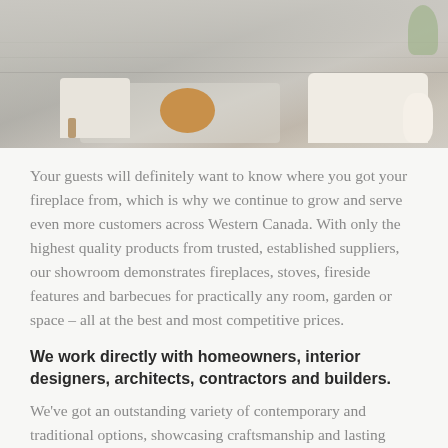[Figure (photo): Interior living room photo showing a light-colored room with wooden flooring, a round wooden coffee table, white/cream sofa and chair, decorative round vase in peach/terracotta, white vase, and a green plant in the background]
Your guests will definitely want to know where you got your fireplace from, which is why we continue to grow and serve even more customers across Western Canada. With only the highest quality products from trusted, established suppliers, our showroom demonstrates fireplaces, stoves, fireside features and barbecues for practically any room, garden or space – all at the best and most competitive prices.
We work directly with homeowners, interior designers, architects, contractors and builders.
We've got an outstanding variety of contemporary and traditional options, showcasing craftsmanship and lasting reliability in each of our gas, wood, electric, and outdoor models.